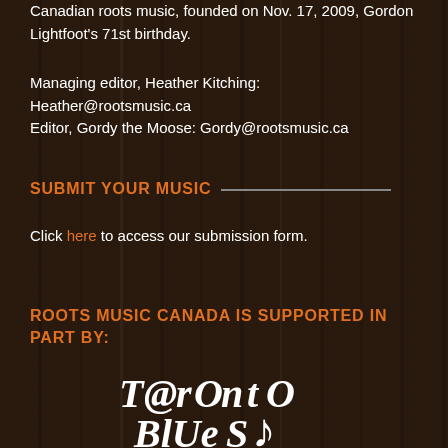Canadian roots music, founded on Nov. 17, 2009, Gordon Lightfoot's 71st birthday.
Managing editor, Heather Kitching: Heather@rootsmusic.ca
Editor, Gordy the Moose: Gordy@rootsmusic.ca
SUBMIT YOUR MUSIC
Click here to access our submission form.
ROOTS MUSIC CANADA IS SUPPORTED IN PART BY:
[Figure (logo): Toronto Blues (Society) logo in white stylized handwritten font]